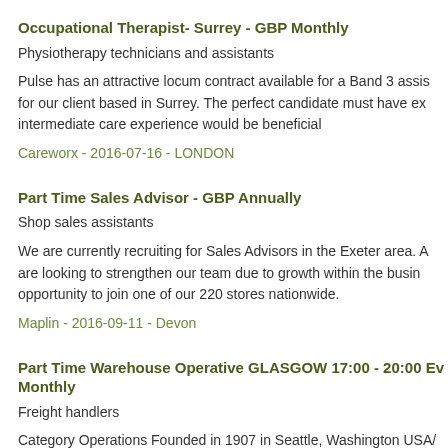Occupational Therapist- Surrey - GBP Monthly
Physiotherapy technicians and assistants
Pulse has an attractive locum contract available for a Band 3 assi... for our client based in Surrey. The perfect candidate must have ex... intermediate care experience would be beneficial
Careworx - 2016-07-16 - LONDON
Part Time Sales Advisor - GBP Annually
Shop sales assistants
We are currently recruiting for Sales Advisors in the Exeter area. A... are looking to strengthen our team due to growth within the busin... opportunity to join one of our 220 stores nationwide.
Maplin - 2016-09-11 - Devon
Part Time Warehouse Operative GLASGOW 17:00 - 20:00 Ev... Monthly
Freight handlers
Category Operations Founded in 1907 in Seattle, Washington USA/